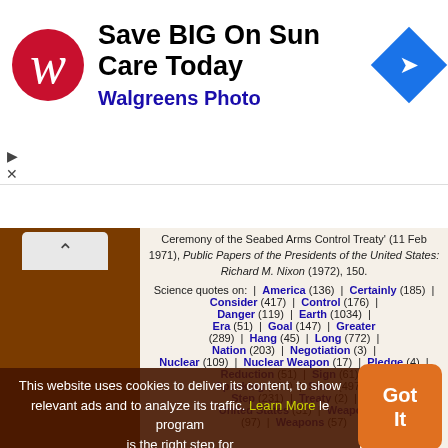[Figure (screenshot): Walgreens Photo advertisement banner showing logo, 'Save BIG On Sun Care Today' headline, 'Walgreens Photo' subtext, and a blue navigation arrow icon]
Ceremony of the Seabed Arms Control Treaty' (11 Feb 1971), Public Papers of the Presidents of the United States: Richard M. Nixon (1972), 150.
Science quotes on: | America (136) | Certainly (185) | Consider (417) | Control (176) | Danger (119) | Earth (1034) | Era (51) | Goal (147) | Greater (289) | Hang (45) | Long (772) | Nation (203) | Negotiation (3) | Nuclear (109) | Nuclear Weapon (17) | Pledge (4) | Reduction (51) | Sign (61) | Speaking (118) | State (497) | Step (231) | Treaty (2) | United States (31) | Weapon (97) | Weapons (57)
This website uses cookies to deliver its content, to show relevant ads and to analyze its traffic. Learn More le program is the right step for